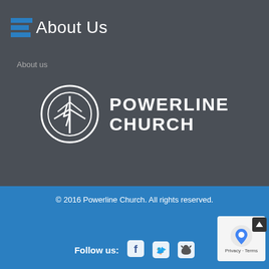About Us
About us
[Figure (logo): Powerline Church logo: circular emblem with a stylized tree/powerline and lightning bolt design in white on dark background, next to bold white text reading POWERLINE CHURCH]
© 2016 Powerline Church. All rights reserved.
Follow us:
[Figure (other): Social media icons: Facebook, Twitter, Apple]